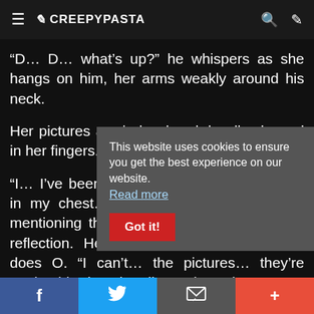≡ ✏ CREEPYPASTA 🔍 ✏
“D… D… what’s up?” he whispers as she hangs on him, her arms weakly around his neck.
Her pictures are in her hand, hardly clasped in her fingers.
“I… I’ve been feeling so much pain lately… in my chest…” Immediately M recalls her mentioning that her chest was violet in her reflection. He gets incredibly nervous, as does O. “I can’t… the pictures… they’re getting blurrier. Literally. Look…” she wea
The injection ne… the man is nearl… is blurry as well.
This website uses cookies to ensure you get the best experience on our website. Read more
Got it!
f  🐦  ✉  +